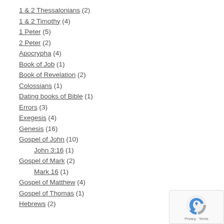1 & 2 Thessalonians (2)
1 & 2 Timothy (4)
1 Peter (5)
2 Peter (2)
Apocrypha (4)
Book of Job (1)
Book of Revelation (2)
Colossians (1)
Dating books of Bible (1)
Errors (3)
Exegesis (4)
Genesis (16)
Gospel of John (10)
John 3:16 (1)
Gospel of Mark (2)
Mark 16 (1)
Gospel of Matthew (4)
Gospel of Thomas (1)
Hebrews (2)